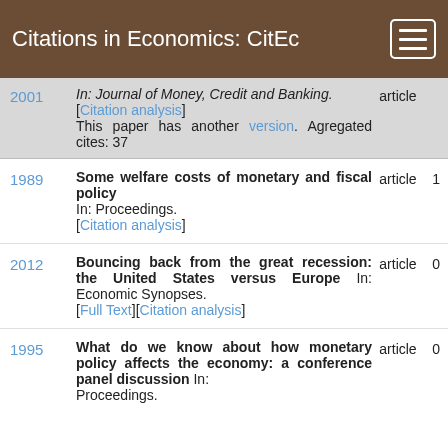Citations in Economics: CitEc
2001 | In: Journal of Money, Credit and Banking. [Citation analysis] This paper has another version. Agregated cites: 37 | article
1989 | Some welfare costs of monetary and fiscal policy In: Proceedings. [Citation analysis] | article | 1
2012 | Bouncing back from the great recession: the United States versus Europe In: Economic Synopses. [Full Text][Citation analysis] | article | 0
1995 | What do we know about how monetary policy affects the economy: a conference panel discussion In: Proceedings. | article | 0